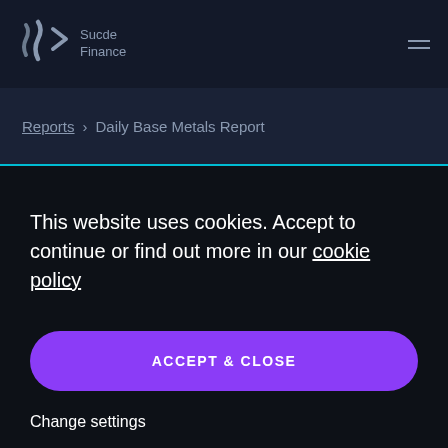Sucde Finance
Reports > Daily Base Metals Report
This website uses cookies. Accept to continue or find out more in our cookie policy
ACCEPT & CLOSE
Change settings